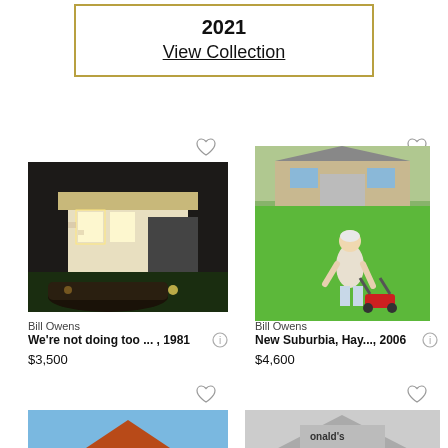2021
View Collection
[Figure (photo): Night photo of mid-century modern house with car in foreground]
Bill Owens
We're not doing too ... , 1981
$3,500
[Figure (photo): Person mowing lawn in front of suburban house]
Bill Owens
New Suburbia, Hay..., 2006
$4,600
[Figure (photo): Desert butte / monument valley landscape]
[Figure (photo): Black and white photo of people in front of McDonald's with pagoda architecture]